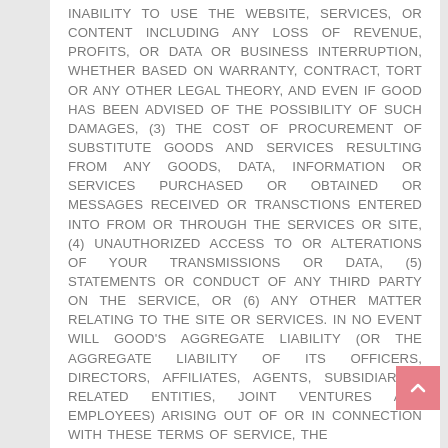INABILITY TO USE THE WEBSITE, SERVICES, OR CONTENT INCLUDING ANY LOSS OF REVENUE, PROFITS, OR DATA OR BUSINESS INTERRUPTION, WHETHER BASED ON WARRANTY, CONTRACT, TORT OR ANY OTHER LEGAL THEORY, AND EVEN IF GOOD HAS BEEN ADVISED OF THE POSSIBILITY OF SUCH DAMAGES, (3) THE COST OF PROCUREMENT OF SUBSTITUTE GOODS AND SERVICES RESULTING FROM ANY GOODS, DATA, INFORMATION OR SERVICES PURCHASED OR OBTAINED OR MESSAGES RECEIVED OR TRANSCTIONS ENTERED INTO FROM OR THROUGH THE SERVICES OR SITE, (4) UNAUTHORIZED ACCESS TO OR ALTERATIONS OF YOUR TRANSMISSIONS OR DATA, (5) STATEMENTS OR CONDUCT OF ANY THIRD PARTY ON THE SERVICE, OR (6) ANY OTHER MATTER RELATING TO THE SITE OR SERVICES. IN NO EVENT WILL GOOD'S AGGREGATE LIABILITY (OR THE AGGREGATE LIABILITY OF ITS OFFICERS, DIRECTORS, AFFILIATES, AGENTS, SUBSIDIARIES, RELATED ENTITIES, JOINT VENTURES AND EMPLOYEES) ARISING OUT OF OR IN CONNECTION WITH THESE TERMS OF SERVICE, THE